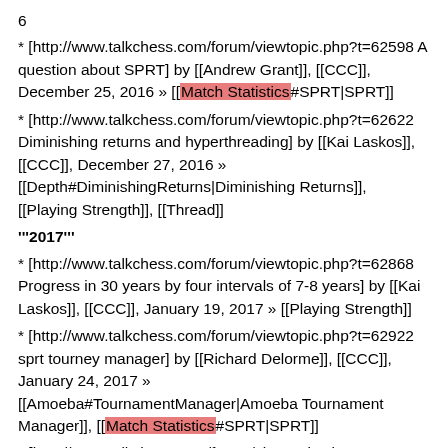6
* [http://www.talkchess.com/forum/viewtopic.php?t=62598 A question about SPRT] by [[Andrew Grant]], [[CCC]], December 25, 2016 » [[Match Statistics#SPRT|SPRT]]
* [http://www.talkchess.com/forum/viewtopic.php?t=62622 Diminishing returns and hyperthreading] by [[Kai Laskos]], [[CCC]], December 27, 2016 » [[Depth#DiminishingReturns|Diminishing Returns]], [[Playing Strength]], [[Thread]]
'''2017'''
* [http://www.talkchess.com/forum/viewtopic.php?t=62868 Progress in 30 years by four intervals of 7-8 years] by [[Kai Laskos]], [[CCC]], January 19, 2017 » [[Playing Strength]]
* [http://www.talkchess.com/forum/viewtopic.php?t=62922 sprt tourney manager] by [[Richard Delorme]], [[CCC]], January 24, 2017 » [[Amoeba#TournamentManager|Amoeba Tournament Manager]], [[Match Statistics#SPRT|SPRT]]
* [http://www.talkchess.com/forum/viewtopic.php?t=63327 Binomial distribution for chess statistics] by [[Lyudmil Antonov]], [[CCC]], March 03, 2017
* [http://www.talkchess.com/forum/viewtopic.php?t=63355 Hig